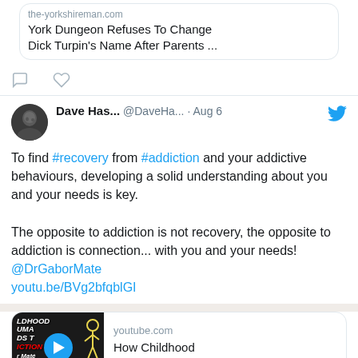[Figure (screenshot): Link preview card showing the-yorkshireman.com article: York Dungeon Refuses To Change Dick Turpin's Name After Parents...]
Comment and heart/like icons (tweet action buttons)
Dave Has... @DaveHa... · Aug 6 [Twitter bird icon]
To find #recovery from #addiction and your addictive behaviours, developing a solid understanding about you and your needs is key.

The opposite to addiction is not recovery, the opposite to addiction is connection... with you and your needs! @DrGaborMate youtu.be/BVg2bfqblGI
[Figure (screenshot): YouTube link preview: How Childhood Trauma Leads to ... with thumbnail showing book/video cover text 'CHILDHOOD TRAUMA LEADS TO ADDICTION' with a cartoon figure]